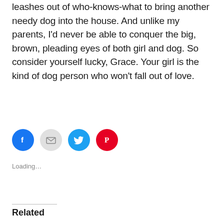leashes out of who-knows-what to bring another needy dog into the house. And unlike my parents, I'd never be able to conquer the big, brown, pleading eyes of both girl and dog. So consider yourself lucky, Grace. Your girl is the kind of dog person who won't fall out of love.
[Figure (other): Row of four social sharing buttons: Facebook (blue circle with f icon), Email (light gray circle with envelope icon), Twitter (cyan circle with bird icon), Pinterest (red circle with P icon)]
Loading...
Related